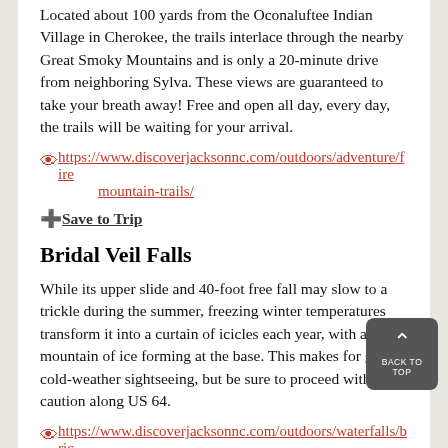Located about 100 yards from the Oconaluftee Indian Village in Cherokee, the trails interlace through the nearby Great Smoky Mountains and is only a 20-minute drive from neighboring Sylva. These views are guaranteed to take your breath away! Free and open all day, every day, the trails will be waiting for your arrival.
https://www.discoverjacksonnc.com/outdoors/adventure/fire mountain-trails/
Save to Trip
Bridal Veil Falls
While its upper slide and 40-foot free fall may slow to a trickle during the summer, freezing winter temperatures transform it into a curtain of icicles each year, with a mountain of ice forming at the base. This makes for great cold-weather sightseeing, but be sure to proceed with caution along US 64.
https://www.discoverjacksonnc.com/outdoors/waterfalls/bridal-veil-falls/